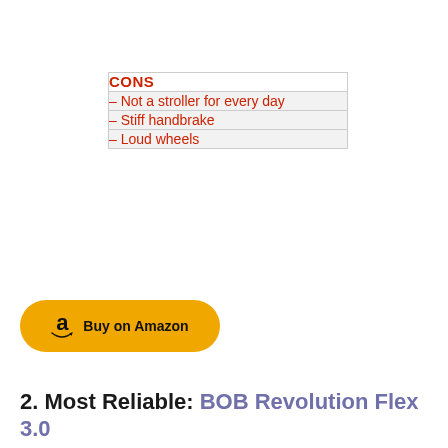| CONS |
| --- |
| – Not a stroller for every day |
| – Stiff handbrake |
| – Loud wheels |
[Figure (other): Yellow Amazon Buy button with Amazon logo and smile]
2. Most Reliable: BOB Revolution Flex 3.0